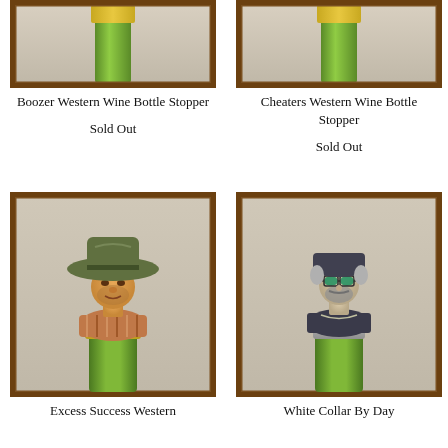[Figure (photo): Top portion of Boozer Western Wine Bottle Stopper product in a rustic wood frame, showing bottle neck]
Boozer Western Wine Bottle Stopper
Sold Out
[Figure (photo): Top portion of Cheaters Western Wine Bottle Stopper product in a rustic wood frame, showing bottle neck]
Cheaters Western Wine Bottle Stopper
Sold Out
[Figure (photo): Excess Success Western Wine Bottle Stopper — cowboy figurine with wide-brim hat on green wine bottle, in rustic wood frame]
Excess Success Western
[Figure (photo): White Collar By Day Western Wine Bottle Stopper — biker/rocker figurine with dark hat and sunglasses on green wine bottle, in rustic wood frame]
White Collar By Day